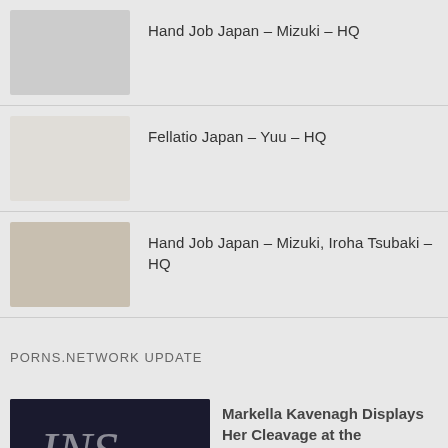Hand Job Japan – Mizuki – HQ
Fellatio Japan – Yuu – HQ
Hand Job Japan – Mizuki, Iroha Tsubaki – HQ
PORNS.NETWORK UPDATE
Markella Kavenagh Displays Her Cleavage at the